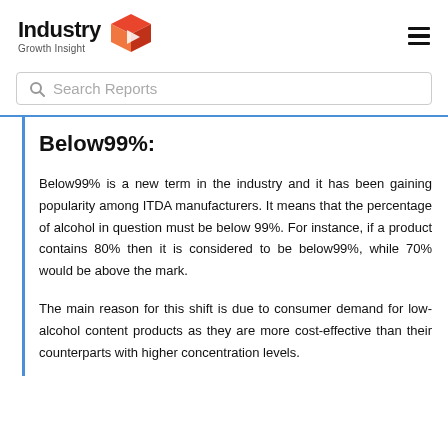Industry Growth Insight
Search Reports
Below99%:
Below99% is a new term in the industry and it has been gaining popularity among ITDA manufacturers. It means that the percentage of alcohol in question must be below 99%. For instance, if a product contains 80% then it is considered to be below99%, while 70% would be above the mark.
The main reason for this shift is due to consumer demand for low-alcohol content products as they are more cost-effective than their counterparts with higher concentration levels.